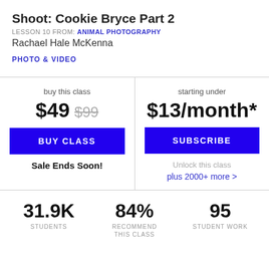Shoot: Cookie Bryce Part 2
LESSON 10 FROM: ANIMAL PHOTOGRAPHY
Rachael Hale McKenna
PHOTO & VIDEO
buy this class
$49 $99
BUY CLASS
Sale Ends Soon!
starting under
$13/month*
SUBSCRIBE
Unlock this class plus 2000+ more >
31.9K STUDENTS
84% RECOMMEND THIS CLASS
95 STUDENT WORK